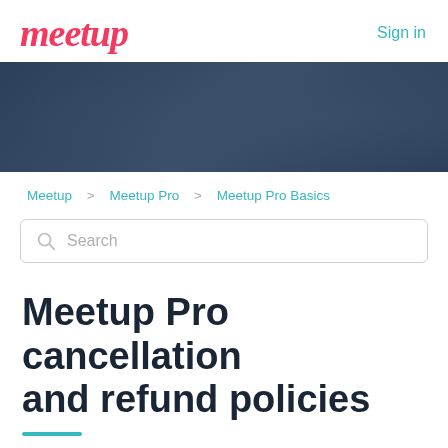Meetup   Sign in
[Figure (illustration): Dark teal/navy decorative banner background]
Meetup > Meetup Pro > Meetup Pro Basics
Search
Meetup Pro cancellation and refund policies